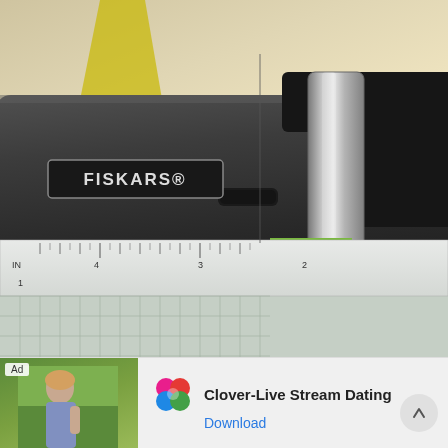[Figure (photo): Close-up photograph of a Fiskars paper trimmer/cutter on a cutting mat. The black body of the cutter has a Fiskars logo label. A metal roller/cylinder is visible on the right side with an orange handle beneath. A green polka-dot paper is being cut. A white ruler strip shows inch measurements (IN, 4, 3, 2, 1). The cutting mat has a grid pattern.]
[Figure (infographic): Advertisement banner for Clover-Live Stream Dating app. Shows an ad label, a photo of a woman outdoors, a colorful clover/flower icon in pink, red, blue, green, the text 'Clover-Live Stream Dating', and a 'Download' button link in blue.]